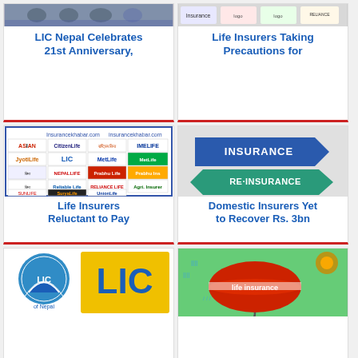[Figure (photo): LIC Nepal 21st Anniversary photo - people at event]
LIC Nepal Celebrates 21st Anniversary,
[Figure (photo): Life Insurers Taking Precautions - insurance logos banner]
Life Insurers Taking Precautions for
[Figure (photo): Grid of life insurance company logos from insurancekhabar.com]
Life Insurers Reluctant to Pay
[Figure (illustration): Insurance and Re-Insurance street signs]
Domestic Insurers Yet to Recover Rs. 3bn
[Figure (logo): LIC logo - blue hands holding globe with LIC letters on yellow background]
[Figure (illustration): Life insurance umbrella illustration on green background]